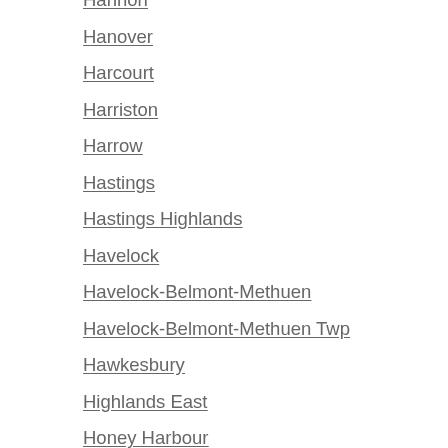Hannon
Hanover
Harcourt
Harriston
Harrow
Hastings
Hastings Highlands
Havelock
Havelock-Belmont-Methuen
Havelock-Belmont-Methuen Twp
Hawkesbury
Highlands East
Honey Harbour
Howard Twp
Huntsville
Huron-Kinloss